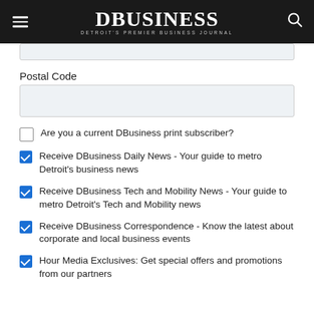DBusiness - Detroit's Premier Business Journal
[Figure (screenshot): Partial input field at top of form]
Postal Code
[Figure (screenshot): Postal Code text input field]
Are you a current DBusiness print subscriber? (unchecked checkbox)
Receive DBusiness Daily News - Your guide to metro Detroit's business news (checked checkbox)
Receive DBusiness Tech and Mobility News - Your guide to metro Detroit's Tech and Mobility news (checked checkbox)
Receive DBusiness Correspondence - Know the latest about corporate and local business events (checked checkbox)
Hour Media Exclusives: Get special offers and promotions from our partners (checked checkbox, partially visible)